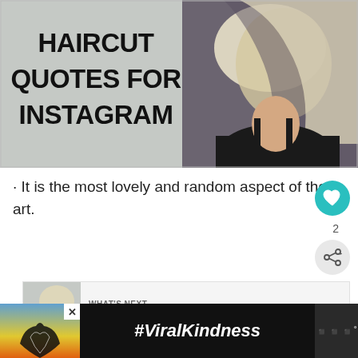[Figure (illustration): Blog post header image with text 'HAIRCUT QUOTES FOR INSTAGRAM' on grey background on the left, and a photo of a woman with blonde bob haircut on the right]
· It is the most lovely and random aspect of the art.
[Figure (infographic): WHAT'S NEXT arrow. Thumbnail showing '100+ Best sunshine...' with a next article preview image]
[Figure (infographic): Advertisement banner with heart hands silhouette against sunset, #ViralKindness text, and a media logo]